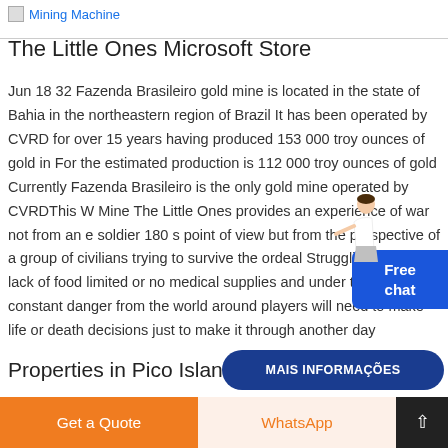Mining Machine
The Little Ones Microsoft Store
Jun 18 32 Fazenda Brasileiro gold mine is located in the state of Bahia in the northeastern region of Brazil It has been operated by CVRD for over 15 years having produced 153 000 troy ounces of gold in For the estimated production is 112 000 troy ounces of gold Currently Fazenda Brasileiro is the only gold mine operated by CVRDThis W Mine The Little Ones provides an experience of war not from an e soldier 180 s point of view but from the perspective of a group of civilians trying to survive the ordeal Struggling with a lack of food limited or no medical supplies and under the threat of constant danger from the world around players will need to make life or death decisions just to make it through another day
Properties in Pico Island